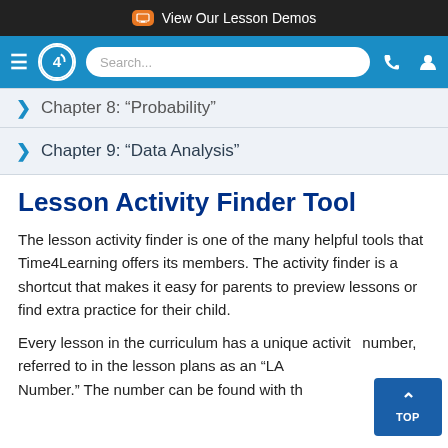View Our Lesson Demos
[Figure (screenshot): Blue navigation bar with hamburger menu, Time4Learning logo, search box, phone and user icons]
Chapter 8: “Probability”
Chapter 9: “Data Analysis”
Lesson Activity Finder Tool
The lesson activity finder is one of the many helpful tools that Time4Learning offers its members. The activity finder is a shortcut that makes it easy for parents to preview lessons or find extra practice for their child.
Every lesson in the curriculum has a unique activity number, referred to in the lesson plans as an “LA Number.” The number can be found with the